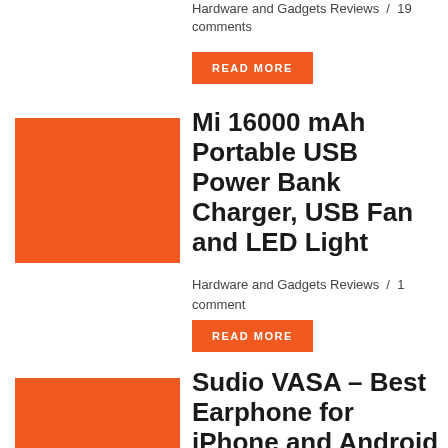Hardware and Gadgets Reviews / 19 comments
READ MORE
[Figure (illustration): Orange rectangle placeholder image for Mi 16000 mAh article]
Mi 16000 mAh Portable USB Power Bank Charger, USB Fan and LED Light
Hardware and Gadgets Reviews / 1 comment
READ MORE
[Figure (illustration): Orange rectangle placeholder image for Sudio VASA article]
Sudio VASA – Best Earphone for iPhone and Android